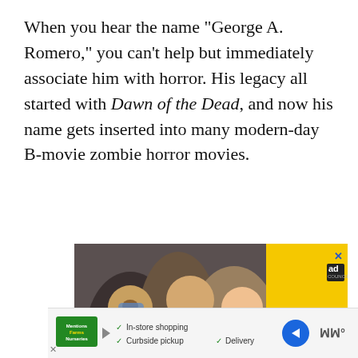When you hear the name "George A. Romero," you can't help but immediately associate him with horror. His legacy all started with Dawn of the Dead, and now his name gets inserted into many modern-day B-movie zombie horror movies.
[Figure (photo): Advertisement photo showing group of smiling people on yellow background with 'ad council' badge and 'TO YOU' text]
[Figure (other): Bottom advertisement bar with store logo, play button, checkmarks for In-store shopping, Curbside pickup, Delivery, blue arrow icon, and Waze-style navigation logo]